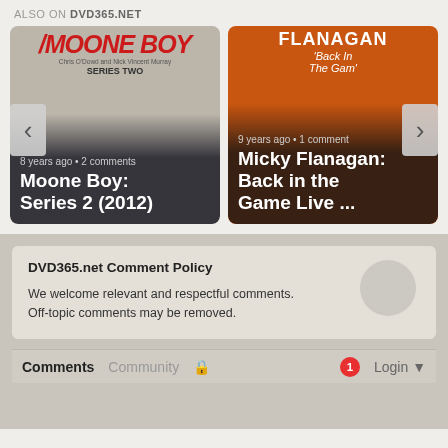ALSO ON DVD365.NET
[Figure (screenshot): Carousel showing two DVD/show cards: 'Moone Boy: Series 2 (2012)' (8 years ago, 2 comments) and 'Micky Flanagan: Back in the Game Live ...' (9 years ago, 1 comment), with left/right navigation arrows.]
DVD365.net Comment Policy
We welcome relevant and respectful comments. Off-topic comments may be removed.
Comments  Community  🔒  1  Login